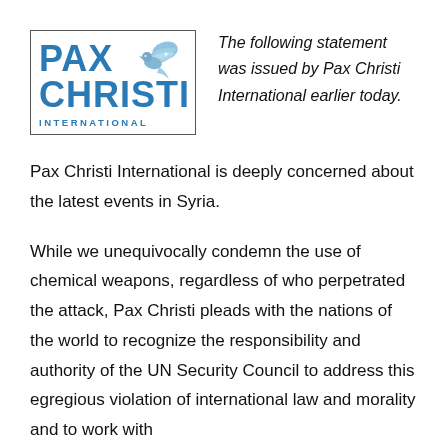[Figure (logo): Pax Christi International logo with blue dove and text]
The following statement was issued by Pax Christi International earlier today.
Pax Christi International is deeply concerned about the latest events in Syria.
While we unequivocally condemn the use of chemical weapons, regardless of who perpetrated the attack, Pax Christi pleads with the nations of the world to recognize the responsibility and authority of the UN Security Council to address this egregious violation of international law and morality and to work with